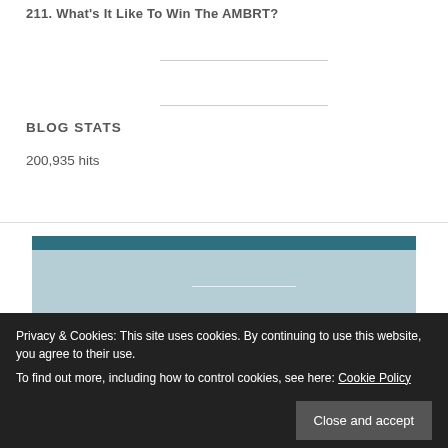211. What's It Like To Win The AMBRT?
BLOG STATS
200,935 hits
[Figure (illustration): Blog banner image with teal header bar and light blue background, containing a horizontal white divider line]
Privacy & Cookies: This site uses cookies. By continuing to use this website, you agree to their use.
To find out more, including how to control cookies, see here: Cookie Policy
Close and accept